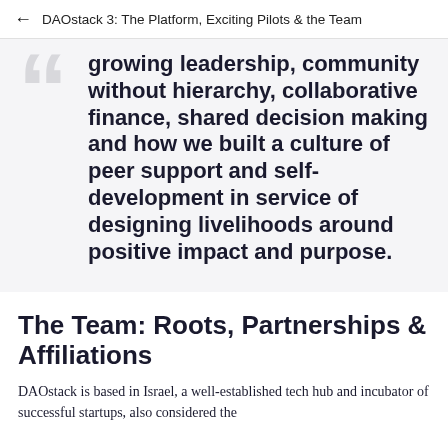DAOstack 3: The Platform, Exciting Pilots & the Team
growing leadership, community without hierarchy, collaborative finance, shared decision making and how we built a culture of peer support and self-development in service of designing livelihoods around positive impact and purpose.
The Team: Roots, Partnerships & Affiliations
DAOstack is based in Israel, a well-established tech hub and incubator of successful startups, also considered the